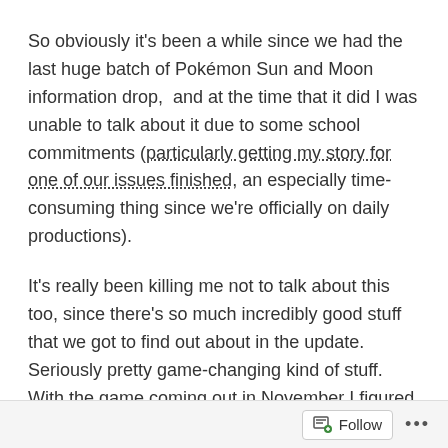So obviously it's been a while since we had the last huge batch of Pokémon Sun and Moon information drop,  and at the time that it did I was unable to talk about it due to some school commitments (particularly getting my story for one of our issues finished, an especially time-consuming thing since we're officially on daily productions).
It's really been killing me not to talk about this too, since there's so much incredibly good stuff that we got to find out about in the update.  Seriously pretty game-changing kind of stuff.  With the game coming out in November I figured we were done getting really big surprise announcements, but clearly I was way off.
Even though I'm still really busy with homework and
Follow